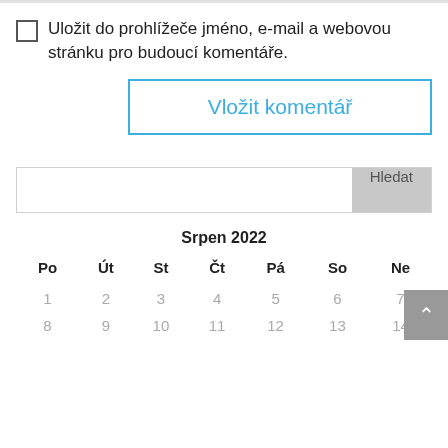Uložit do prohlížeče jméno, e-mail a webovou stránku pro budoucí komentáře.
Vložit komentář
Hledat
Srpen 2022
| Po | Út | St | Čt | Pá | So | Ne |
| --- | --- | --- | --- | --- | --- | --- |
| 1 | 2 | 3 | 4 | 5 | 6 | 7 |
| 8 | 9 | 10 | 11 | 12 | 13 | 14 |